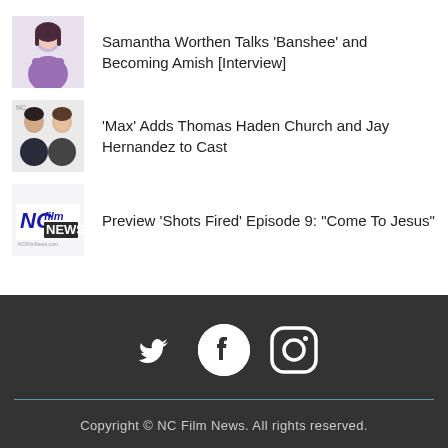Samantha Worthen Talks 'Banshee' and Becoming Amish [Interview]
'Max' Adds Thomas Haden Church and Jay Hernandez to Cast
Preview 'Shots Fired' Episode 9: "Come To Jesus"
[Figure (other): Social media icons: Twitter, Facebook, Instagram]
Copyright © NC Film News. All rights reserved.